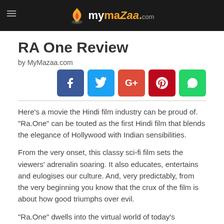mymazaa.com
RA One Review
by MyMazaa.com
Here's a movie the Hindi film industry can be proud of. "Ra.One" can be touted as the first Hindi film that blends the elegance of Hollywood with Indian sensibilities.
From the very onset, this classy sci-fi film sets the viewers' adrenalin soaring. It also educates, entertains and eulogises our culture. And, very predictably, from the very beginning you know that the crux of the film is about how good triumphs over evil.
"Ra.One" dwells into the virtual world of today's youngsters who are hooked on to technology and video games.
Prateik (Armaan Verma) is one of them. For him the villain is the hero simply because he does not play by the rules. It's winning, by hook or by crook, that matters to him.
Shekhar Subramanium (Shah Rukh Khan), the clumsy, nerdy game...